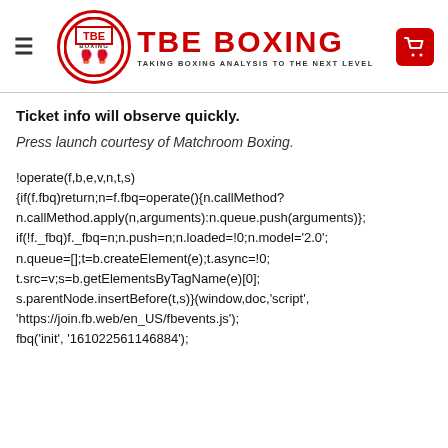TBE BOXING — TAKING BOXING ANALYSIS TO THE NEXT LEVEL
Ticket info will observe quickly.
Press launch courtesy of Matchroom Boxing.
!operate(f,b,e,v,n,t,s) {if(f.fbq)return;n=f.fbq=operate(){n.callMethod? n.callMethod.apply(n,arguments):n.queue.push(arguments)}; if(!f._fbq)f._fbq=n;n.push=n;n.loaded=!0;n.model='2.0'; n.queue=[];t=b.createElement(e);t.async=!0; t.src=v;s=b.getElementsByTagName(e)[0]; s.parentNode.insertBefore(t,s)}(window,doc,'script', 'https://join.fb.web/en_US/fbevents.js'); fbq('init', '161022561146884');